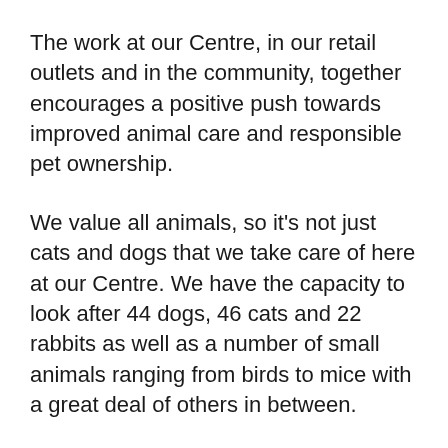The work at our Centre, in our retail outlets and in the community, together encourages a positive push towards improved animal care and responsible pet ownership.
We value all animals, so it's not just cats and dogs that we take care of here at our Centre. We have the capacity to look after 44 dogs, 46 cats and 22 rabbits as well as a number of small animals ranging from birds to mice with a great deal of others in between.
Once rescued by our Inspectors from neglect and cruelty, we work tirelessly to ensure that each animal that comes into our care can be rehabilitated to find a forever home that will love and look after them.